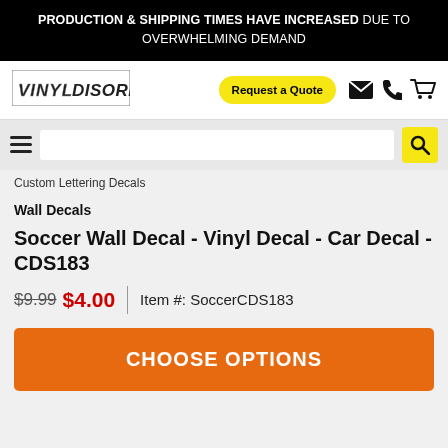PRODUCTION & SHIPPING TIMES HAVE INCREASED DUE TO OVERWHELMING DEMAND
[Figure (logo): VinylDisorder logo with grid/distressed lettering style]
Request a Quote
Custom Lettering Decals
Wall Decals
Soccer Wall Decal - Vinyl Decal - Car Decal - CDS183
$9.99  $4.00  |  Item #: SoccerCDS183
CHOOSE OPTIONS